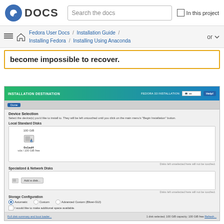DOCS — Search the docs — In this project
Fedora User Docs / Installation Guide / Installing Fedora / Installing Using Anaconda
become impossible to recover.
[Figure (screenshot): Screenshot of Fedora 33 Installation Destination dialog showing Device Selection with a 100 GiB disk (vda / 100 GiB free, 0x1ad4), Specialized & Network Disks section with Add a disk... button, Storage Configuration section with Automatic/Custom/Advanced Custom radio buttons, I would like to make additional space available checkbox, Encryption section with Encrypt my data checkbox, and footer showing full disk summary, 1 disk selected: 100 GiB capacity, 100 GiB free, Refresh...]